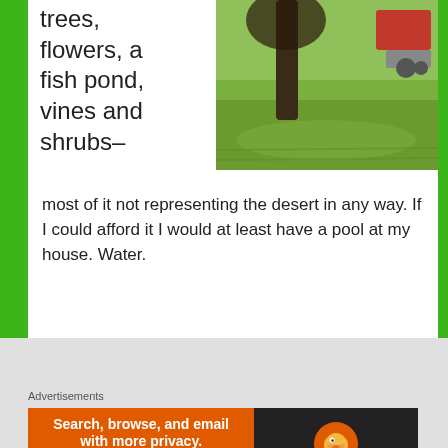[Figure (photo): Outdoor scene with green grass lawn and a large tree trunk, with a red tractor partially visible at top right]
trees, flowers, a fish pond, vines and shrubs– most of it not representing the desert in any way. If I could afford it I would at least have a pool at my house. Water.
Advertisements
[Figure (screenshot): Longreads advertisement: red background with Longreads logo and text 'The best stories on the web — ours, and everyone else's']
Advertisements
[Figure (screenshot): DuckDuckGo advertisement: 'Search, browse, and email with more privacy. All in One Free App' on orange background with DuckDuckGo duck logo on dark background]